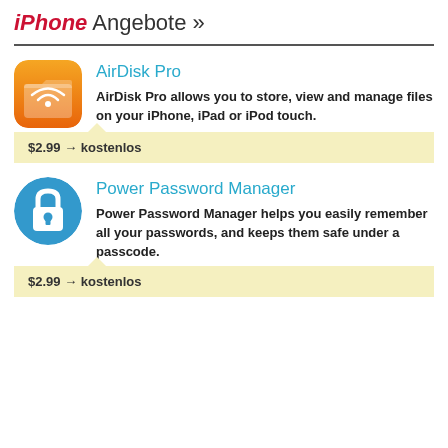iPhone Angebote »
AirDisk Pro
AirDisk Pro allows you to store, view and manage files on your iPhone, iPad or iPod touch.
$2.99 → kostenlos
Power Password Manager
Power Password Manager helps you easily remember all your passwords, and keeps them safe under a passcode.
$2.99 → kostenlos